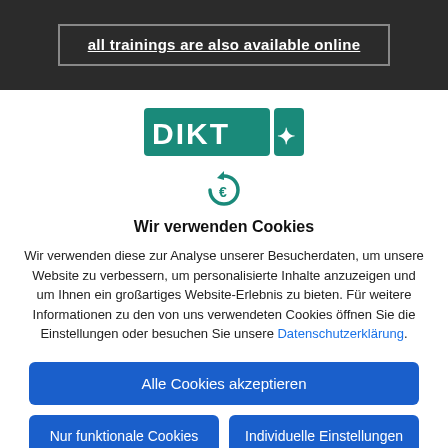[Figure (screenshot): Dark banner with text 'all trainings are also available online' underlined in white, inside a bordered box on dark background]
[Figure (logo): DIKTX logo in teal/green color with stylized X icon]
[Figure (illustration): Cookie/privacy icon - circular arrow symbol in teal/blue]
Wir verwenden Cookies
Wir verwenden diese zur Analyse unserer Besucherdaten, um unsere Website zu verbessern, um personalisierte Inhalte anzuzeigen und um Ihnen ein großartiges Website-Erlebnis zu bieten. Für weitere Informationen zu den von uns verwendeten Cookies öffnen Sie die Einstellungen oder besuchen Sie unsere Datenschutzerklärung.
Alle Cookies akzeptieren
Nur funktionale Cookies
Individuelle Einstellungen